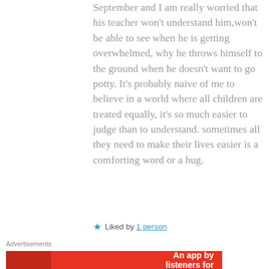September and I am really worried that his teacher won't understand him,won't be able to see when he is getting overwhelmed, why he throws himself to the ground when he doesn't want to go potty. It's probably naive of me to believe in a world where all children are treated equally, it's so much easier to judge than to understand. sometimes all they need to make their lives easier is a comforting word or a hug.
★ Liked by 1 person
Advertisements
[Figure (other): Advertisement banner with red background showing a phone image and text 'An app by listeners for']